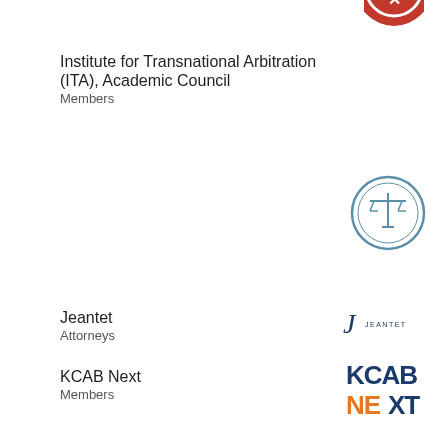[Figure (logo): Partially visible red circular logo at top right]
Institute for Transnational Arbitration (ITA), Academic Council
Members
[Figure (logo): Blue circular balance/scales of justice icon for ITA]
Jeantet
Attorneys
[Figure (logo): Jeantet law firm logo - stylized J with JEANTET text]
KCAB Next
Members
[Figure (logo): KCAB NEXT logo in blue and orange]
Linklaters
Attorneys
[Figure (logo): Linklaters logo in pink/magenta text]
Peter & Kim
Attorneys
[Figure (logo): PETER&KIM logo in dark grey small caps]
Rising Arbitrators Initiative (RAI)
Members
[Figure (logo): RAI logo with arrow and text]
Schoenherr
Attorneys
[Figure (logo): schoenherr logo in lowercase grey text]
partially visible entry at bottom